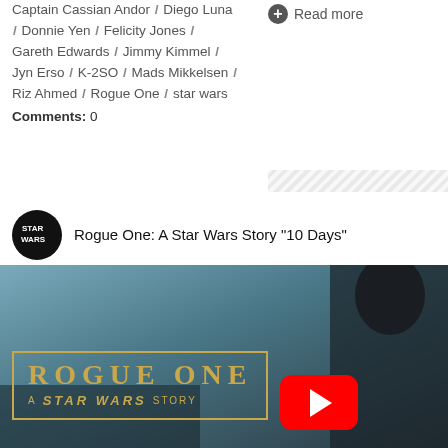Captain Cassian Andor / Diego Luna / Donnie Yen / Felicity Jones / Gareth Edwards / Jimmy Kimmel / Jyn Erso / K-2SO / Mads Mikkelsen / Riz Ahmed / Rogue One / star wars
Comments: 0
Read more
[Figure (screenshot): YouTube video embed thumbnail for 'Rogue One: A Star Wars Story "10 Days"' showing the Star Wars channel logo, video title, a scene from the movie with a character on the right side, the Rogue One movie title card with golden text and border, and a YouTube play button overlay.]